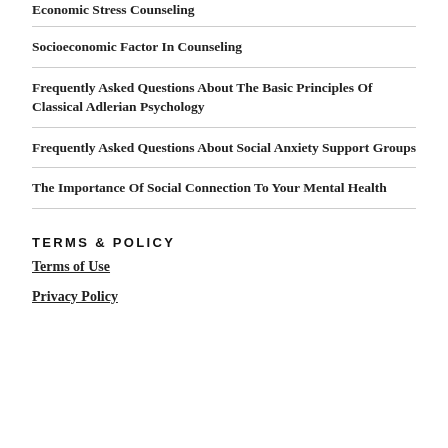Economic Stress Counseling
Socioeconomic Factor In Counseling
Frequently Asked Questions About The Basic Principles Of Classical Adlerian Psychology
Frequently Asked Questions About Social Anxiety Support Groups
The Importance Of Social Connection To Your Mental Health
TERMS & POLICY
Terms of Use
Privacy Policy